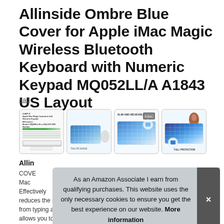Allinside Ombre Blue Cover for Apple iMac Magic Wireless Bluetooth Keyboard with Numeric Keypad MQ052LL/A A1843 US Layout
#ad
[Figure (photo): Four product thumbnail images showing the keyboard cover: (1) product info sheet with keyboard image, (2) ombre blue gradient keyboard cover on keyboard with magic mouse, labeled TAILOR MADE, (3) slim and wearable label with keyboard cover detail, (4) full protection label with keyboard cover]
Allinside
COVER for Apple Magic Wireless Bluetooth Keyboard with Numeric Keypad MQ052LL/A A1843
Effectively reduces the noise from typing and allows you to
As an Amazon Associate I earn from qualifying purchases. This website uses the only necessary cookies to ensure you get the best experience on our website. More information